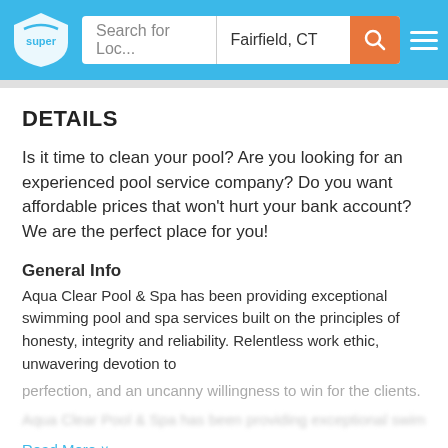super | Search for Loc... | Fairfield, CT
DETAILS
Is it time to clean your pool? Are you looking for an experienced pool service company? Do you want affordable prices that won’t hurt your bank account? We are the perfect place for you!
General Info
Aqua Clear Pool & Spa has been providing exceptional swimming pool and spa services built on the principles of honesty, integrity and reliability. Relentless work ethic, unwavering devotion to perfection, and an uncanny willingness to win for the clients.
Read More
Hours
Regular Hours